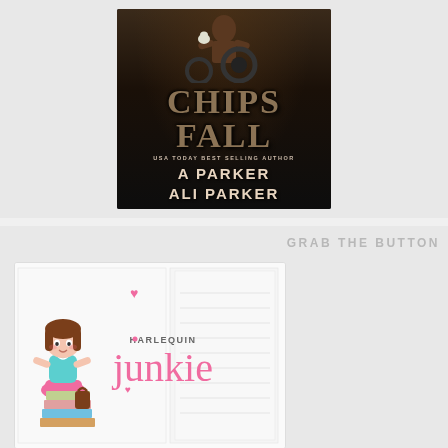[Figure (illustration): Book cover for 'Chips Fall' by A Parker and Ali Parker (USA Today Best Selling Author). Dark grungy background with a shirtless man holding a chicken, with tire visible. Title 'CHIPS FALL' in large weathered font, author names below.]
GRAB THE BUTTON
[Figure (logo): Harlequin Junkie logo — cartoon girl with brown hair in teal top and pink skirt sitting on a stack of books, next to stylized 'HARLEQUIN junkie' text in pink. Background shows faint book page lines. Small pink hearts scattered.]